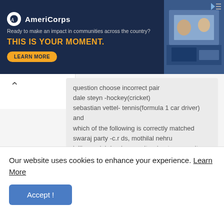[Figure (screenshot): AmeriCorps advertisement banner with dark blue background. Logo, tagline 'Ready to make an impact in communities across the country?', headline 'THIS IS YOUR MOMENT.', and 'LEARN MORE' button. Right side shows a photo of people working at computers.]
question choose incorrect pair
dale steyn -hockey(cricket)
sebastian vettel- tennis(formula 1 car driver)
and
which of the following is correctly matched
swaraj party -c.r ds, mothilal nehru
jallian walah bagh commitee-hunter commitee
both the answer are correct
Delete
Our website uses cookies to enhance your experience. Learn More
Accept !